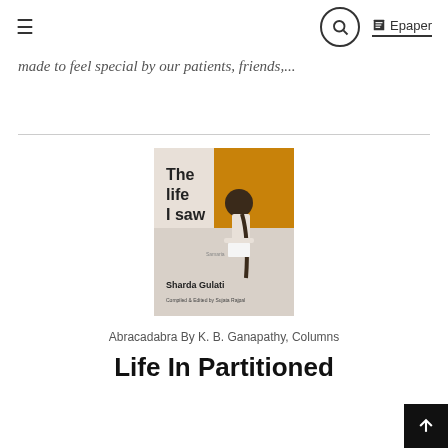≡  🔍  Epaper
made to feel special by our patients, friends,...
[Figure (photo): Book cover of 'The life I saw' by Sharda Gulati, Compiled & Edited by Sujata Rajpal. Shows a young woman with braids writing, on an orange and white cover.]
Abracadabra By K. B. Ganapathy, Columns
Life In Partitioned